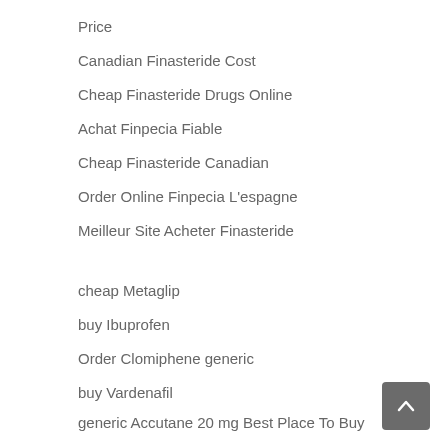Price
Canadian Finasteride Cost
Cheap Finasteride Drugs Online
Achat Finpecia Fiable
Cheap Finasteride Canadian
Order Online Finpecia L'espagne
Meilleur Site Acheter Finasteride
cheap Metaglip
buy Ibuprofen
Order Clomiphene generic
buy Vardenafil
generic Accutane 20 mg Best Place To Buy